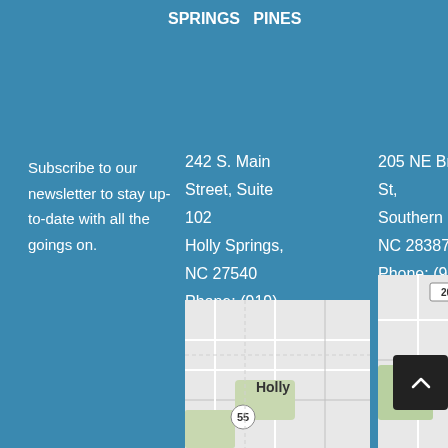SPRINGS  PINES
Subscribe to our newsletter to stay up-to-date with all the goings on.
242 S. Main Street, Suite 102 Holly Springs, NC 27540 Phone: (919) 346-8182
205 NE Broad St, Southern Pines, NC 28387 Phone: (910) 684-8707
[Figure (map): Map showing Holly Springs NC area with route 55 visible]
[Figure (map): Map showing Southern Pines NC area with route 2075 and Southern Pines label visible]